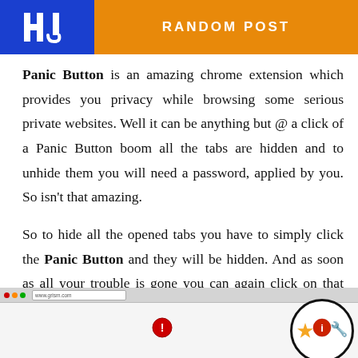RANDOM POST
Panic Button is an amazing chrome extension which provides you privacy while browsing some serious private websites. Well it can be anything but @ a click of a Panic Button boom all the tabs are hidden and to unhide them you will need a password, applied by you. So isn't that amazing.
So to hide all the opened tabs you have to simply click the Panic Button and they will be hidden. And as soon as all your trouble is gone you can again click on that button and enter your applied password your all tabs will be again recovered.
[Figure (screenshot): Screenshot of a browser window showing the Panic Button chrome extension icon in the toolbar, with a zoomed circular inset showing browser action icons including a star, info button, and wrench/settings icon.]